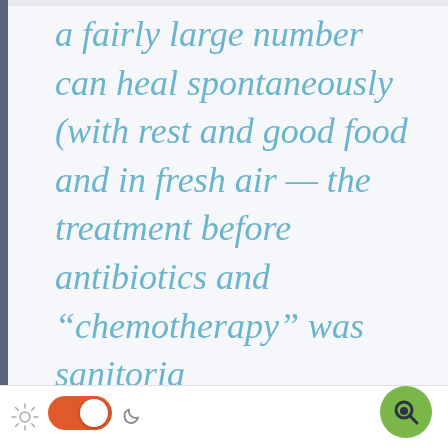a fairly large number can heal spontaneously (with rest and good food and in fresh air — the treatment before antibiotics and “chemotherapy” was sanitoria